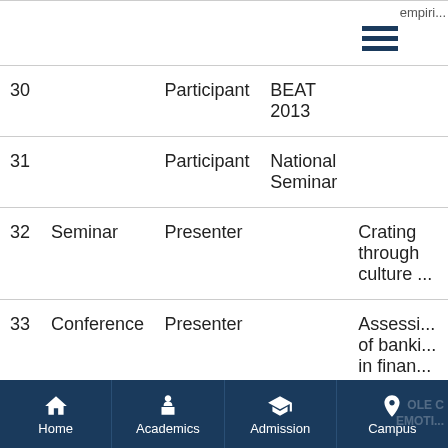| # | Type | Role | Event | Title |
| --- | --- | --- | --- | --- |
| 30 |  | Participant | BEAT 2013 |  |
| 31 |  | Participant | National Seminar |  |
| 32 | Seminar | Presenter |  | Crating through culture ... |
| 33 | Conference | Presenter |  | Assessing of banking in financial inclusion... |
| 34 | Conference | Presenter |  | Performance Pradhan Jan Dha... |
Home | Academics | Admission | Campus